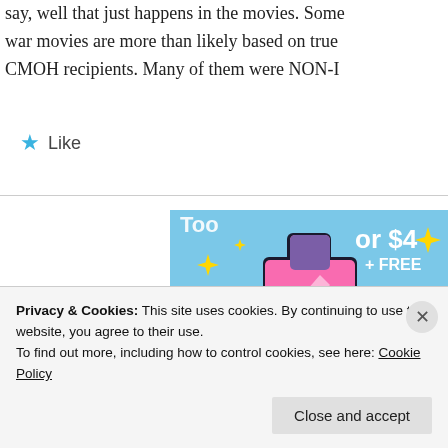say, well that just happens in the movies. Some war movies are more than likely based on true CMOH recipients. Many of them were NON-I
★ Like
[Figure (screenshot): Tumblr Ad-Free advertisement banner with Tumblr logo (pink and purple 't' letter) on a blue sky background with yellow sparkle stars, text reads 'Too' 'or $4' '+ FREE' 'TUMBLR AD-FREE']
Privacy & Cookies: This site uses cookies. By continuing to use this website, you agree to their use.
To find out more, including how to control cookies, see here: Cookie Policy
Close and accept